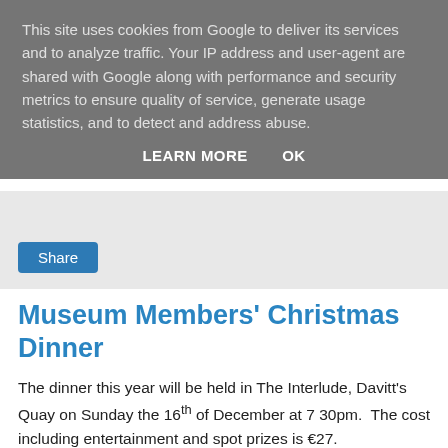This site uses cookies from Google to deliver its services and to analyze traffic. Your IP address and user-agent are shared with Google along with performance and security metrics to ensure quality of service, generate usage statistics, and to detect and address abuse.
LEARN MORE   OK
[Figure (other): Share button area with light grey background]
Museum Members' Christmas Dinner
The dinner this year will be held in The Interlude, Davitt's Quay on Sunday the 16th of December at 7 30pm.  The cost including entertainment and spot prizes is €27.
Names and money to be paid on or before Tuesday the 11th